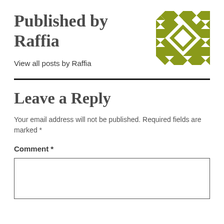Published by Raffia
[Figure (illustration): Olive/khaki green geometric quilt pattern logo — repeating diamond and triangle shapes in a square block]
View all posts by Raffia
Leave a Reply
Your email address will not be published. Required fields are marked *
Comment *